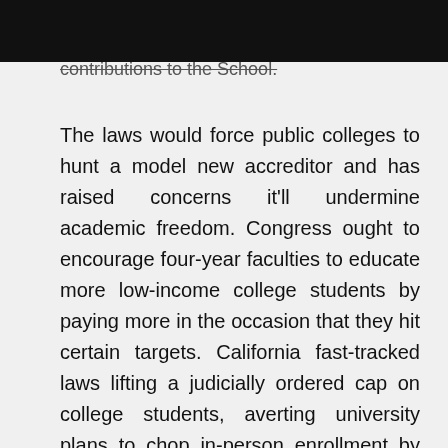contributions to the School.
The laws would force public colleges to hunt a model new accreditor and has raised concerns it'll undermine academic freedom. Congress ought to encourage four-year faculties to educate more low-income college students by paying more in the occasion that they hit certain targets. California fast-tracked laws lifting a judicially ordered cap on college students, averting university plans to chop in-person enrollment by 2,600. Officials acquired complaints including colleges misrepresenting what GI Bill advantages would cowl and students not knowing they